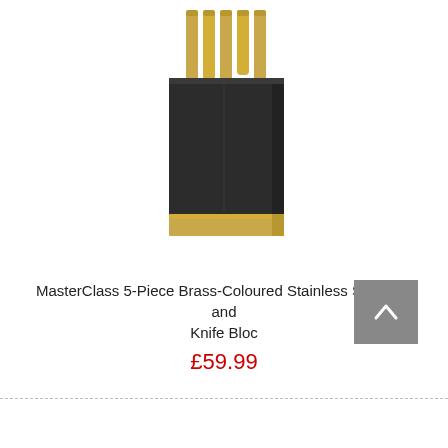[Figure (photo): A MasterClass 5-piece knife set with brass-coloured stainless steel knives stored in a dark rectangular knife block with a gold/brass base trim. The knives have gold-coloured handles protruding from the top of the black block.]
MasterClass 5-Piece Brass-Coloured Stainless Steel Knife Set and Knife Bloc
£59.99